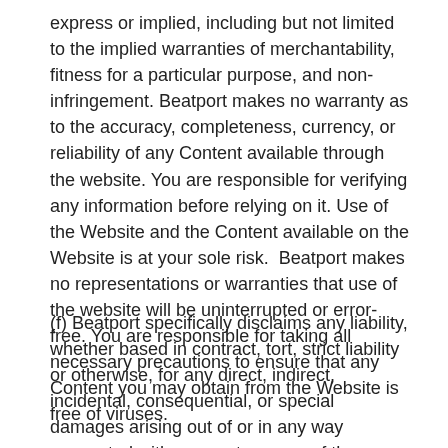express or implied, including but not limited to the implied warranties of merchantability, fitness for a particular purpose, and non-infringement. Beatport makes no warranty as to the accuracy, completeness, currency, or reliability of any Content available through the website. You are responsible for verifying any information before relying on it. Use of the Website and the Content available on the Website is at your sole risk.  Beatport makes no representations or warranties that use of the website will be uninterrupted or error-free. You are responsible for taking all necessary precautions to ensure that any Content you may obtain from the Website is free of viruses.
(f) Beatport specifically disclaims any liability, whether based in contract, tort, strict liability or otherwise, for any direct, indirect, incidental, consequential, or special damages arising out of or in any way connected with access to or use of the Website, even if Beatport has been advised of the possibility of such damages, including but not limited to